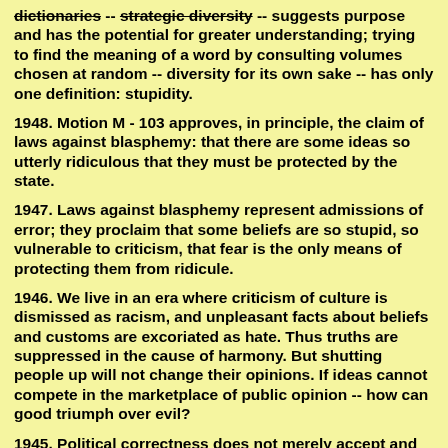dictionaries -- strategic diversity -- suggests purpose and has the potential for greater understanding; trying to find the meaning of a word by consulting volumes chosen at random -- diversity for its own sake -- has only one definition: stupidity.
1948. Motion M - 103 approves, in principle, the claim of laws against blasphemy: that there are some ideas so utterly ridiculous that they must be protected by the state.
1947. Laws against blasphemy represent admissions of error; they proclaim that some beliefs are so stupid, so vulnerable to criticism, that fear is the only means of protecting them from ridicule.
1946. We live in an era where criticism of culture is dismissed as racism, and unpleasant facts about beliefs and customs are excoriated as hate. Thus truths are suppressed in the cause of harmony. But shutting people up will not change their opinions. If ideas cannot compete in the marketplace of public opinion -- how can good triumph over evil?
1945. Political correctness does not merely accept and encourage falsehood -- dishonesty is its core operating principle.
1944. Political correctness assumes that harmony can be